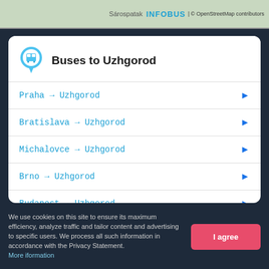[Figure (map): Partial map showing Sárospatak area with INFOBUS logo and OpenStreetMap attribution]
Buses to Uzhgorod
Praha → Uzhgorod
Bratislava → Uzhgorod
Michalovce → Uzhgorod
Brno → Uzhgorod
Budapest → Uzhgorod
Lviv → Uzhgorod
Kyiv → Uzhgorod
Plzeň → Uzhgorod
We use cookies on this site to ensure its maximum efficiency, analyze traffic and tailor content and advertising to specific users. We process all such information in accordance with the Privacy Statement. More information